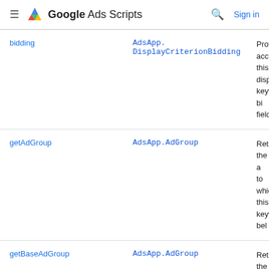Google Ads Scripts  Sign in
| Method | Returns | Description |
| --- | --- | --- |
| bidding | AdsApp.DisplayCriterionBidding | Provides acc this display keyword's bi fields. |
| getAdGroup | AdsApp.AdGroup | Returns the a to which this keyword bel |
| getBaseAdGroup | AdsApp.AdGroup | Returns the b group to whi display keyw belongs. |
| getBaseCampaign | AdsApp.Campaign | Returns the b campaign to this display k belongs. |
| getCampaign | AdsApp.Campaign | Returns the |